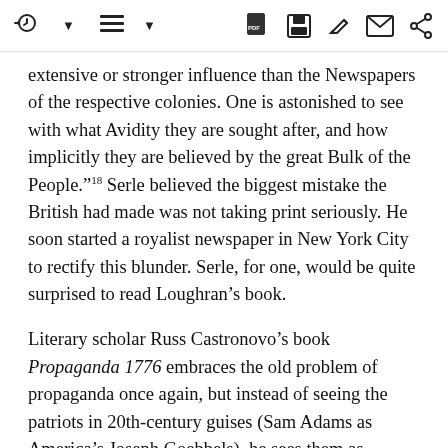[toolbar icons]
extensive or stronger influence than the Newspapers of the respective colonies. One is astonished to see with what Avidity they are sought after, and how implicitly they are believed by the great Bulk of the People.”¹⁸ Serle believed the biggest mistake the British had made was not taking print seriously. He soon started a royalist newspaper in New York City to rectify this blunder. Serle, for one, would be quite surprised to read Loughran’s book.
Literary scholar Russ Castronovo’s book Propaganda 1776 embraces the old problem of propaganda once again, but instead of seeing the patriots in 20th-century guises (Sam Adams as America’s Joseph Goebbels), he sees them as propagators—a useful